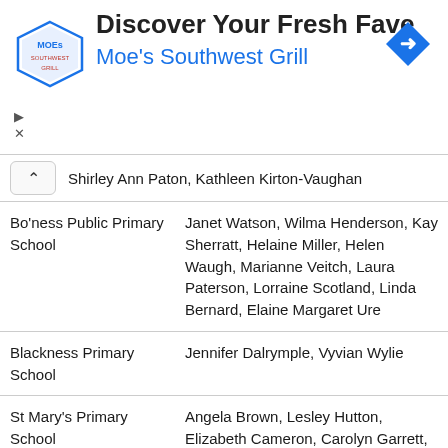[Figure (illustration): Moe's Southwest Grill advertisement banner with logo, headline 'Discover Your Fresh Fave', subheadline 'Moe's Southwest Grill', navigation arrow icon, and ad controls]
|  | Shirley Ann Paton, Kathleen Kirton-Vaughan |
| --- | --- |
| Bo'ness Public Primary School | Janet Watson, Wilma Henderson, Kay Sherratt, Helaine Miller, Helen Waugh, Marianne Veitch, Laura Paterson, Lorraine Scotland, Linda Bernard, Elaine Margaret Ure |
| Blackness Primary School | Jennifer Dalrymple, Vyvian Wylie |
| St Mary's Primary School | Angela Brown, Lesley Hutton, Elizabeth Cameron, Carolyn Garrett, Noreen McAdam, Stephanie Brankin, Lorna Clark, Arlene McNiff, Margaret Ann Kerr, Elaine Haggerty |
| Deanburn Primary School | Sandra Littler, Julie Louden, Wendy Craft, Stella Baxter, Rhona Livingstone, Margaret Brown, Lorna Keary, Gillian Watt, Melanie Yallop, Morag Shaw |